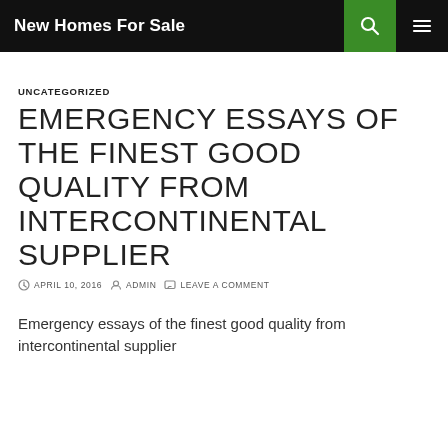New Homes For Sale
UNCATEGORIZED
EMERGENCY ESSAYS OF THE FINEST GOOD QUALITY FROM INTERCONTINENTAL SUPPLIER
APRIL 10, 2016  ADMIN  LEAVE A COMMENT
Emergency essays of the finest good quality from intercontinental supplier